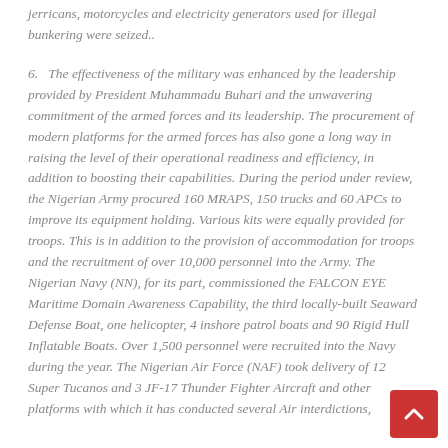jerricans, motorcycles and electricity generators used for illegal bunkering were seized..
6.   The effectiveness of the military was enhanced by the leadership provided by President Muhammadu Buhari and the unwavering commitment of the armed forces and its leadership. The procurement of modern platforms for the armed forces has also gone a long way in raising the level of their operational readiness and efficiency, in addition to boosting their capabilities. During the period under review, the Nigerian Army procured 160 MRAPS, 150 trucks and 60 APCs to improve its equipment holding. Various kits were equally provided for troops. This is in addition to the provision of accommodation for troops and the recruitment of over 10,000 personnel into the Army. The Nigerian Navy (NN), for its part, commissioned the FALCON EYE Maritime Domain Awareness Capability, the third locally-built Seaward Defense Boat, one helicopter, 4 inshore patrol boats and 90 Rigid Hull Inflatable Boats. Over 1,500 personnel were recruited into the Navy during the year. The Nigerian Air Force (NAF) took delivery of 12 Super Tucanos and 3 JF-17 Thunder Fighter Aircraft and other platforms with which it has conducted several Air interdictions, and aided the security to combat threats and deter armed